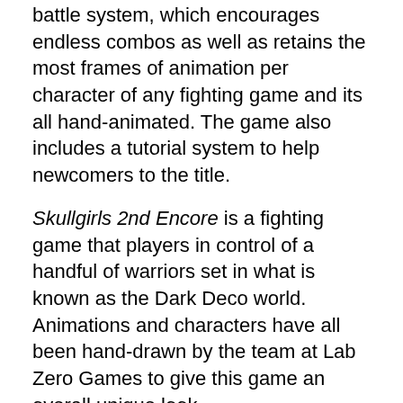battle system, which encourages endless combos as well as retains the most frames of animation per character of any fighting game and its all hand-animated. The game also includes a tutorial system to help newcomers to the title.
Skullgirls 2nd Encore is a fighting game that players in control of a handful of warriors set in what is known as the Dark Deco world. Animations and characters have all been hand-drawn by the team at Lab Zero Games to give this game an overall unique look.
There's also a physical version of the game available:
SkullgirlsEncore Switch cartridge with all previous